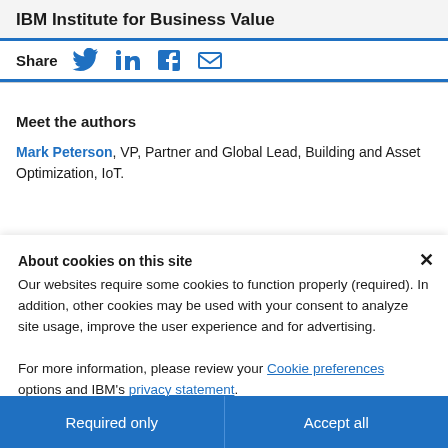IBM Institute for Business Value
Share [Twitter] [LinkedIn] [Facebook] [Email]
Meet the authors
Mark Peterson, VP, Partner and Global Lead, Building and Asset Optimization, IoT.
About cookies on this site
Our websites require some cookies to function properly (required). In addition, other cookies may be used with your consent to analyze site usage, improve the user experience and for advertising.

For more information, please review your Cookie preferences options and IBM's privacy statement.
Required only
Accept all